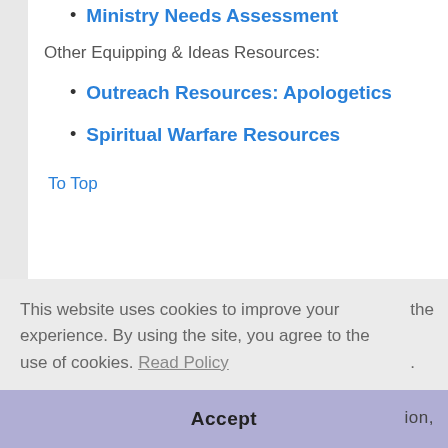Ministry Needs Assessment
Other Equipping & Ideas Resources:
Outreach Resources: Apologetics
Spiritual Warfare Resources
To Top
This website uses cookies to improve your experience. By using the site, you agree to the use of cookies. Read Policy
Accept